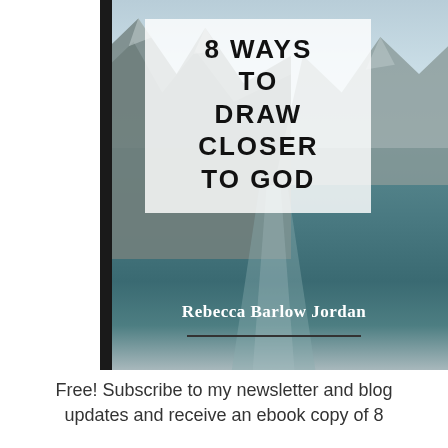[Figure (illustration): Book cover for '8 Ways to Draw Closer to God' by Rebecca Barlow Jordan. The cover features a nature photograph of mountains reflected in a lake, with a semi-transparent white box containing the bold title text, and the author's name at the bottom with a dark horizontal rule beneath it. A dark spine runs along the left edge.]
Free! Subscribe to my newsletter and blog updates and receive an ebook copy of 8